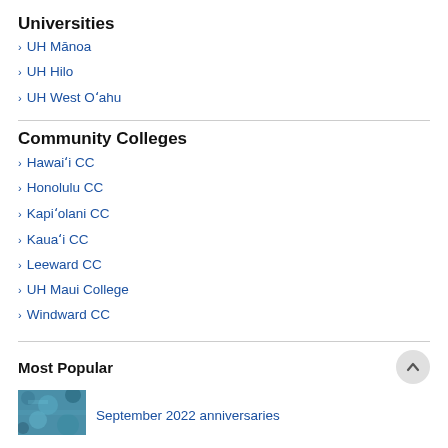Universities
UH Mānoa
UH Hilo
UH West Oʻahu
Community Colleges
Hawaiʻi CC
Honolulu CC
Kapiʻolani CC
Kauaʻi CC
Leeward CC
UH Maui College
Windward CC
Most Popular
September 2022 anniversaries
[Figure (photo): Teal/blue textured image thumbnail for Most Popular article]